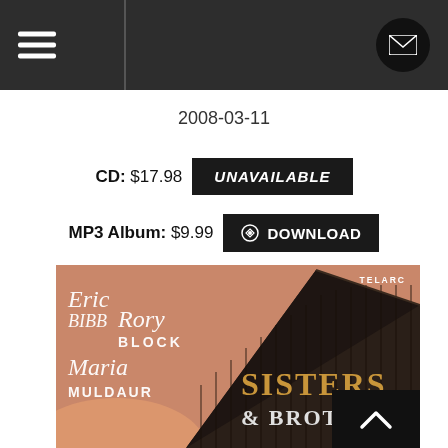Navigation bar with hamburger menu and mail icon
2008-03-11
CD: $17.98  UNAVAILABLE
MP3 Album: $9.99  DOWNLOAD
[Figure (photo): Album cover for 'Sisters & Brothers' featuring Eric Bibb, Rory Block, and Maria Muldaur on Telarc label. Shows a dark wooden barn with salmon/pink sky background. Artist names appear on left in white italic text, album title 'SISTERS & BROTHERS' on the barn in golden/white letters.]